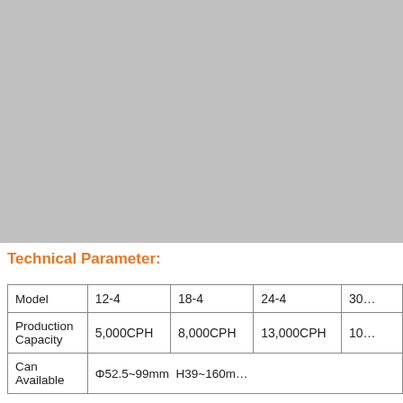[Figure (photo): Gray/silver background rectangular image area, likely a product photo placeholder or cropped image of industrial canning equipment.]
Technical Parameter:
| Model | 12-4 | 18-4 | 24-4 | 30… |
| --- | --- | --- | --- | --- |
| Production Capacity | 5,000CPH | 8,000CPH | 13,000CPH | 10… |
| Can Available |  |  | Φ52.5~99mm  H39~160m… |  |